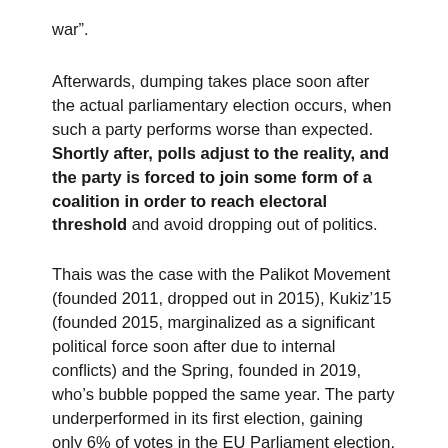war”.
Afterwards, dumping takes place soon after the actual parliamentary election occurs, when such a party performs worse than expected. Shortly after, polls adjust to the reality, and the party is forced to join some form of a coalition in order to reach electoral threshold and avoid dropping out of politics.
Thais was the case with the Palikot Movement (founded 2011, dropped out in 2015), Kukiz’15 (founded 2015, marginalized as a significant political force soon after due to internal conflicts) and the Spring, founded in 2019, who’s bubble popped the same year. The party underperformed in its first election, gaining only 6% of votes in the EU Parliament election.
Among those mentioned, the record high result in parliamentary voting was 10%, obtained by the Palikot Movement individually in the year 2011, while the Left